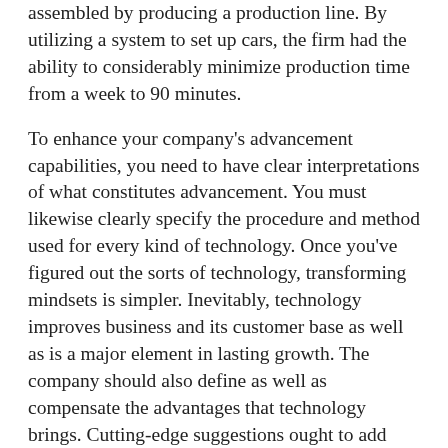assembled by producing a production line. By utilizing a system to set up cars, the firm had the ability to considerably minimize production time from a week to 90 minutes.
To enhance your company's advancement capabilities, you need to have clear interpretations of what constitutes advancement. You must likewise clearly specify the procedure and method used for every kind of technology. Once you've figured out the sorts of technology, transforming mindsets is simpler. Inevitably, technology improves business and its customer base as well as is a major element in lasting growth. The company should also define as well as compensate the advantages that technology brings. Cutting-edge suggestions ought to add worth as well as increase the capacities of the business.
While the principle of inequality isn't an issue theoretically, it comes to be a problem when revenue difference rises. Inequality is not only a trouble from a social viewpoint, yet it